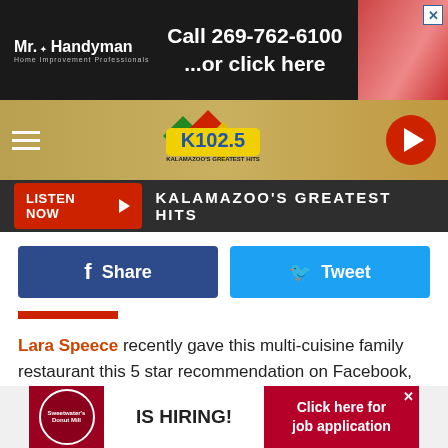[Figure (screenshot): Mr. Handyman ad banner: Call 269-762-6100 ...or click here, dark background with person image]
[Figure (logo): K102.5 Kalamazoo's Greatest Hits radio station logo with colored diamond shapes]
LISTEN NOW ▶  KALAMAZOO'S GREATEST HITS
Share  Tweet
Lara Speece recently gave this multi-cuisine family restaurant this 5 star recommendation on Facebook,
"I come here every week with my friends and we always get really great food and great service"
[Figure (screenshot): Sweetwater's Donut Mill IS HIRING! Click here for job application ad banner]